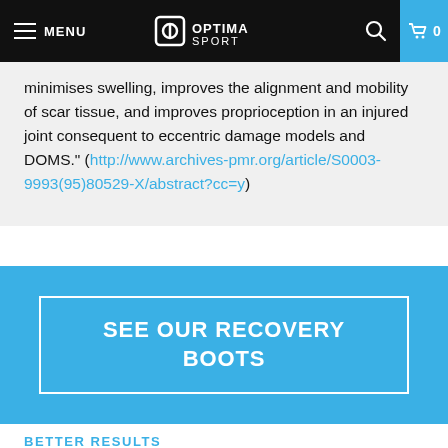MENU | OPTIMA SPORT | 0
minimises swelling, improves the alignment and mobility of scar tissue, and improves proprioception in an injured joint consequent to eccentric damage models and DOMS." (http://www.archives-pmr.org/article/S0003-9993(95)80529-X/abstract?cc=y)
SEE OUR RECOVERY BOOTS
BETTER RESULTS
Faster and more effective recovery can give you better training quality and thus better results. Although there are many factors to consider when you want to